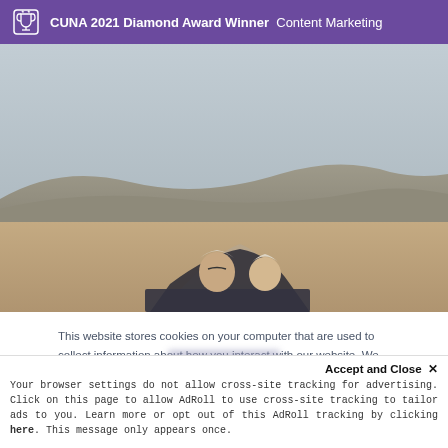CUNA 2021 Diamond Award Winner  Content Marketing
[Figure (photo): Elderly couple in a convertible car driving through a desert landscape with mountain ridges in the background under a grey-blue sky. View from behind showing their heads above the car seat.]
This website stores cookies on your computer that are used to collect information about how you interact with our website. We use this information in order to improve and customize your browsing experience and for analytics and metrics about our visitors both on this website and other media. To find out more about privacy practices, see our Privacy Policy.
Accept and Close ✕
Your browser settings do not allow cross-site tracking for advertising. Click on this page to allow AdRoll to use cross-site tracking to tailor ads to you. Learn more or opt out of this AdRoll tracking by clicking here. This message only appears once.